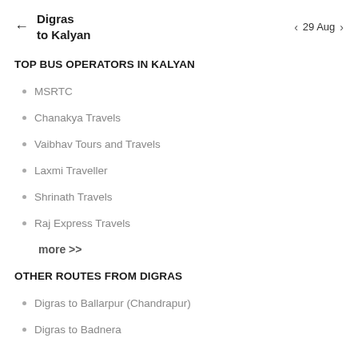← Digras to Kalyan  < 29 Aug >
TOP BUS OPERATORS IN KALYAN
MSRTC
Chanakya Travels
Vaibhav Tours and Travels
Laxmi Traveller
Shrinath Travels
Raj Express Travels
more >>
OTHER ROUTES FROM DIGRAS
Digras to Ballarpur (Chandrapur)
Digras to Badnera